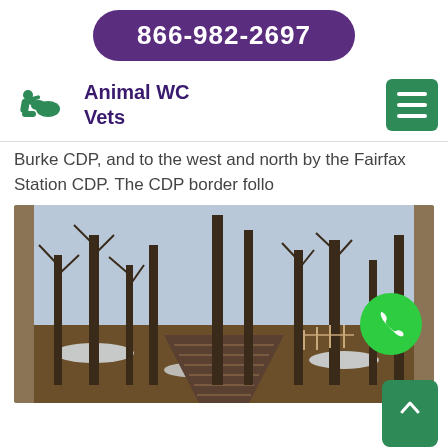866-982-2697
Animal WC Vets
Burke CDP, and to the west and north by the Fairfax Station CDP. The CDP border follo
[Figure (photo): Outdoor park scene with a wooden boardwalk path leading through bare winter trees, patchy snow on the ground, and a green phone call button overlay.]